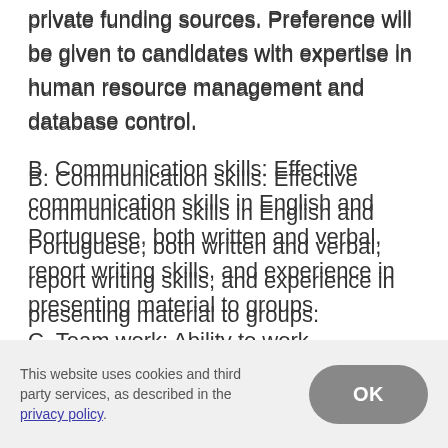private funding sources. Preference will be given to candidates with expertise in human resource management and database control.
B. Communication skills: Effective communication skills in English and Portuguese, both written and verbal, report writing skills, and experience in presenting material to groups.
C. Team work: Ability to work autonomously and as part of a team with enthusiasm, initiative, and strong
This website uses cookies and third party services, as described in the privacy policy.